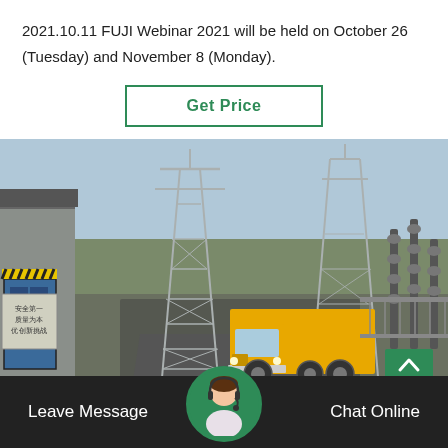2021.10.11 FUJI Webinar 2021 will be held on October 26 (Tuesday) and November 8 (Monday).
[Figure (other): Button UI element: 'Get Price' button with green border on white background]
[Figure (photo): A yellow delivery truck parked at an electrical substation with large steel transmission towers and high-voltage equipment. A building with a blue door and Chinese safety signage is visible on the left.]
[Figure (other): Bottom navigation bar with 'Leave Message' on left, customer service avatar in center, 'Chat Online' on right, on a dark background.]